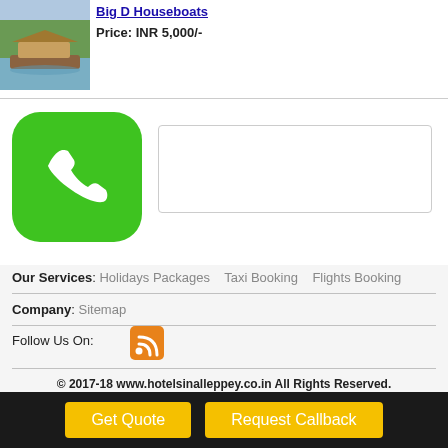[Figure (photo): Photo of a houseboat on water with trees in background]
Big D Houseboats
Price: INR 5,000/-
[Figure (illustration): Green rounded square button with white phone/call icon]
Our Services: Holidays Packages   Taxi Booking   Flights Booking
Company: Sitemap
Follow Us On:
[Figure (logo): RSS feed orange icon]
© 2017-18 www.hotelsinalleppey.co.in All Rights Reserved.
Get Quote   Request Callback